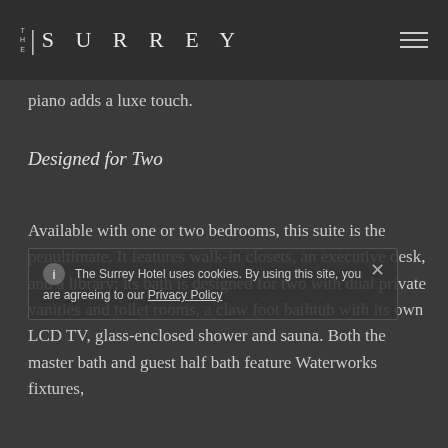THE SURREY
piano adds a luxe touch.
Designed for Two
Available with one or two bedrooms, this suite is the penultimate. It features walk-in closets, an executive desk, and a library; its bath is designed for two with dual private vanities and toilet rooms, a claw foot bathtub with its own LCD TV, glass-enclosed shower and sauna. Both the master bath and guest half bath feature Waterworks fixtures,
The Surrey Hotel uses cookies. By using this site, you are agreeing to our Privacy Policy